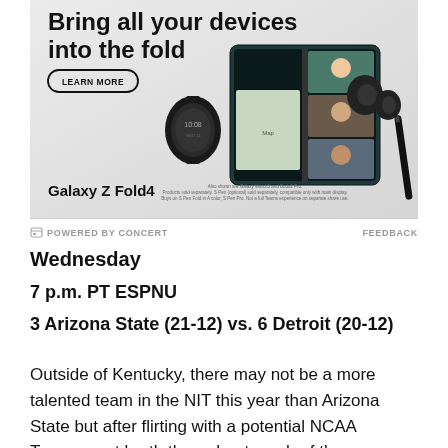[Figure (photo): Samsung Galaxy Z Fold4 advertisement showing a foldable phone with video call, Galaxy Watch, earbuds, and S Pen. Text reads 'Bring all your devices into the fold' with a 'LEARN MORE' button.]
POWERED BY CONCERT   FEEDBACK
Wednesday
7 p.m. PT ESPNU
3 Arizona State (21-12) vs. 6 Detroit (20-12)
Outside of Kentucky, there may not be a more talented team in the NIT this year than Arizona State but after flirting with a potential NCAA Tournament berth throughout much of the season, they may not be